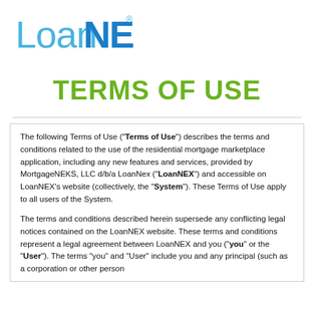[Figure (logo): LoanNEX logo — 'Loan' in blue, 'NEX' in blue bold with registered trademark symbol]
TERMS OF USE
The following Terms of Use (“Terms of Use”) describes the terms and conditions related to the use of the residential mortgage marketplace application, including any new features and services, provided by MortgageNEKS, LLC d/b/a LoanNex (“LoanNEX”) and accessible on LoanNEX’s website (collectively, the “System”). These Terms of Use apply to all users of the System.
The terms and conditions described herein supersede any conflicting legal notices contained on the LoanNEX website. These terms and conditions represent a legal agreement between LoanNEX and you (“you” or the “User”). The terms “you” and “User” include you and any principal (such as a corporation or other person